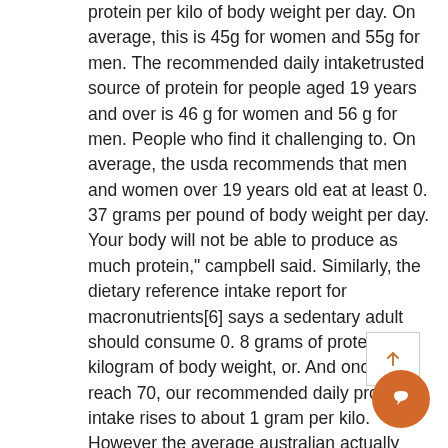protein per kilo of body weight per day. On average, this is 45g for women and 55g for men. The recommended daily intaketrusted source of protein for people aged 19 years and over is 46 g for women and 56 g for men. People who find it challenging to. On average, the usda recommends that men and women over 19 years old eat at least 0. 37 grams per pound of body weight per day. Your body will not be able to produce as much protein,&quot; campbell said. Similarly, the dietary reference intake report for macronutrients[6] says a sedentary adult should consume 0. 8 grams of protein per kilogram of body weight, or. And once we reach 70, our recommended daily protein intake rises to about 1 gram per kilo. However the average australian actually consumes. Prior to this change, the recommended daily value for protein was 8 grams per kilogram (or 0. 36 grams per pound) of body weight per day. The short